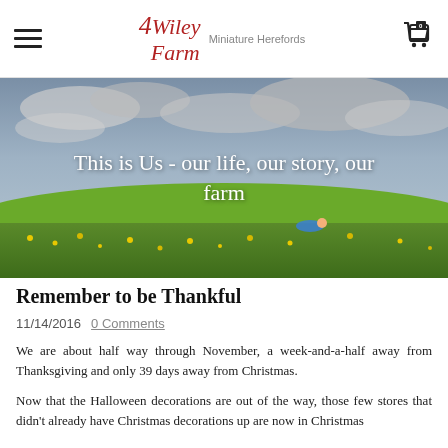4Wiley Farm Miniature Herefords
[Figure (photo): Wide green field with yellow wildflowers under a dramatic cloudy sky; a person lying in the grass in the background]
This is Us - our life, our story, our farm
Remember to be Thankful
11/14/2016  0 Comments
We are about half way through November, a week-and-a-half away from Thanksgiving and only 39 days away from Christmas.
Now that the Halloween decorations are out of the way, those few stores that didn't already have Christmas decorations up are now in Christmas overdrive.